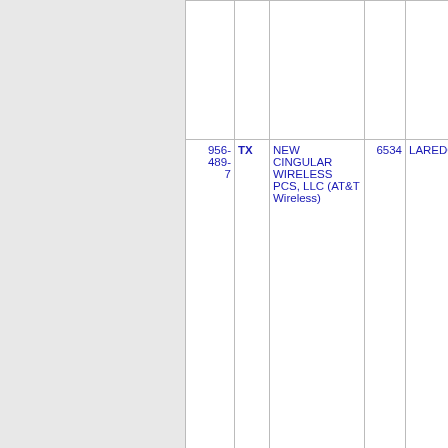| Number | State | Carrier | Code | City |
| --- | --- | --- | --- | --- |
| 956-489-7 | TX | NEW CINGULAR WIRELESS PCS, LLC (AT&T Wireless) | 6534 | LAREDO |
| 956-489-8 | TX | NEW CINGULAR WIRELESS PCS, LLC (AT&T Wireless) | 6534 | LAREDO |